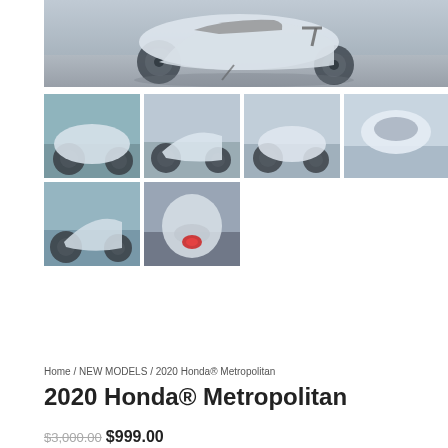[Figure (photo): Large main photo of a white Honda Metropolitan scooter parked on pavement, side view]
[Figure (photo): Thumbnail 1: white Honda Metropolitan scooter, front-left angle, trees in background]
[Figure (photo): Thumbnail 2: white Honda Metropolitan scooter, left side view outdoors]
[Figure (photo): Thumbnail 3: white Honda Metropolitan scooter, right side view]
[Figure (photo): Thumbnail 4: white Honda Metropolitan scooter, rear seat close-up]
[Figure (photo): Thumbnail 5: white Honda Metropolitan scooter, rear three-quarter view]
[Figure (photo): Thumbnail 6: white Honda Metropolitan scooter, rear view showing tail light]
Home / NEW MODELS / 2020 Honda® Metropolitan
2020 Honda® Metropolitan
$3,000.00 $999.00